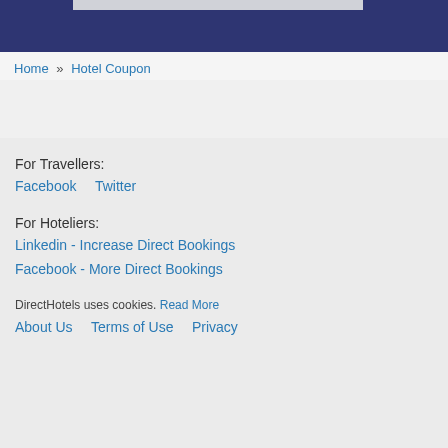[Figure (screenshot): Dark navy blue header banner with a light gray rectangular element at the top]
Home » Hotel Coupon
For Travellers:
Facebook    Twitter
For Hoteliers:
Linkedin - Increase Direct Bookings
Facebook - More Direct Bookings
DirectHotels uses cookies. Read More
About Us    Terms of Use    Privacy